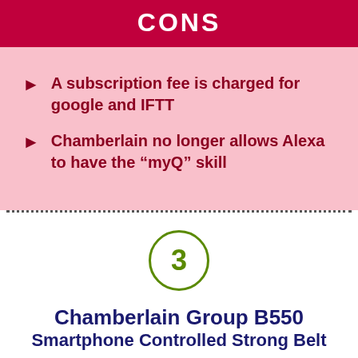CONS
A subscription fee is charged for google and IFTT
Chamberlain no longer allows Alexa to have the “myQ” skill
[Figure (infographic): Number 3 inside a green circle, indicating product ranking]
Chamberlain Group B550
Smartphone Controlled Strong Belt